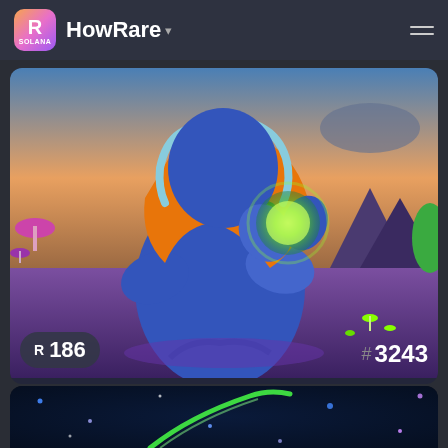HowRare (SOLANA)
[Figure (illustration): NFT artwork showing a blue humanoid creature with orange leopard-print hooded cloak, holding a glowing green orb, surrounded by a psychedelic mushroom forest landscape with purple and teal tones]
R 186
# 3243
UNLISTED
NO SALE HISTORY
[Figure (illustration): Partial view of a second NFT card showing a dark space scene with blue/green colors, dots of light and a green swoosh/comet shape]